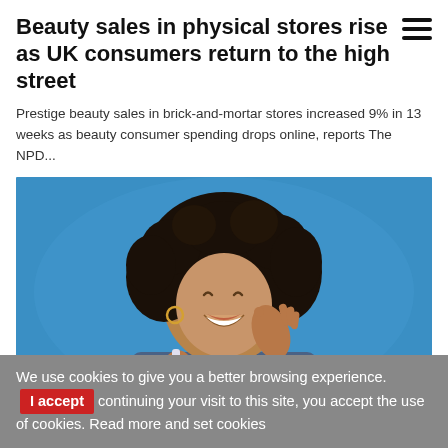Beauty sales in physical stores rise as UK consumers return to the high street
Prestige beauty sales in brick-and-mortar stores increased 9% in 13 weeks as beauty consumer spending drops online, reports The NPD...
[Figure (photo): Woman with curly hair smiling and applying a beauty product to her cheek, holding a small blue bottle, against a blue background]
We use cookies to give you a better browsing experience. By continuing your visit to this site, you accept the use of cookies. Read more and set cookies